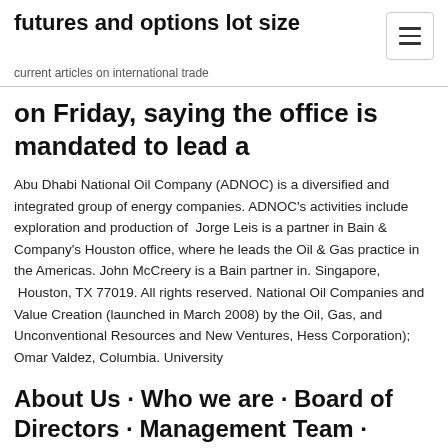futures and options lot size
current articles on international trade
on Friday, saying the office is mandated to lead a
Abu Dhabi National Oil Company (ADNOC) is a diversified and integrated group of energy companies. ADNOC's activities include exploration and production of  Jorge Leis is a partner in Bain & Company's Houston office, where he leads the Oil & Gas practice in the Americas. John McCreery is a Bain partner in. Singapore,  Houston, TX 77019. All rights reserved. National Oil Companies and Value Creation (launched in March 2008) by the Oil, Gas, and Unconventional Resources and New Ventures, Hess Corporation); Omar Valdez, Columbia. University
About Us · Who we are · Board of Directors · Management Team · Quality Policy Statement